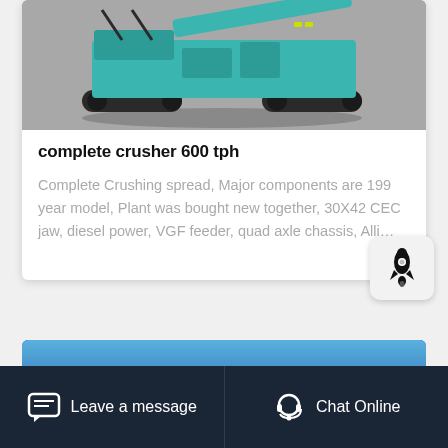[Figure (photo): Teal/green tracked mobile crusher machine on grey background, top portion visible]
complete crusher 600 tph
Complete Crushing spread, Major components are 199 year model, Plant was bought new together, 30X42 CEC jaw, diesel power, VGF feeder, quad axle chassis, Alli…
[Figure (photo): Partial image of second product listing with blue background]
Leave a message   Chat Online